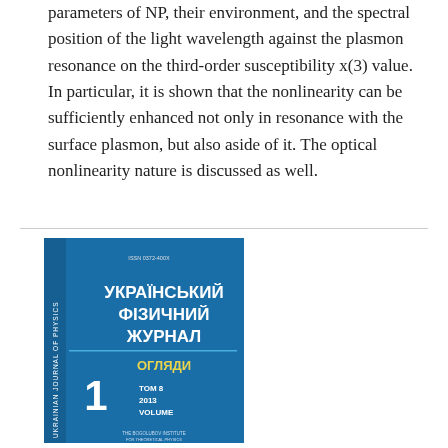parameters of NP, their environment, and the spectral position of the light wavelength against the plasmon resonance on the third-order susceptibility x(3) value. In particular, it is shown that the nonlinearity can be sufficiently enhanced not only in resonance with the surface plasmon, but also aside of it. The optical nonlinearity nature is discussed as well.
[Figure (photo): Journal cover of Ukrainian Journal of Physics (Украiнський Фiзичний Журнал), Огляди, Tom 8, 2013, Volume 1. Blue background with white and yellow text, vertical side text 'Ukrainian Journal of Physics', ISSN 0372-400X at top.]